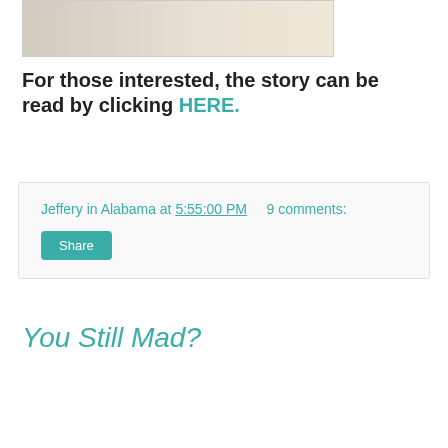[Figure (photo): Partial view of a historical photograph showing a person with an old vehicle or equipment, cropped at the top of the page.]
For those interested, the story can be read by clicking HERE.
Jeffery in Alabama at 5:55:00 PM   9 comments:
Share
You Still Mad?